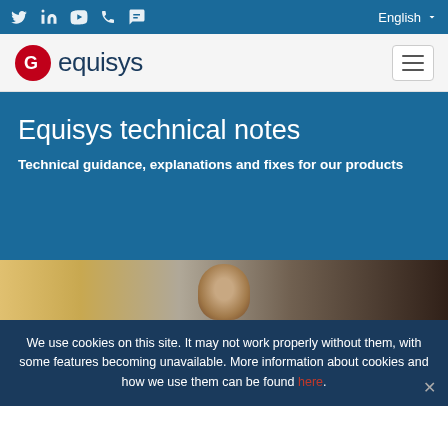Social icons bar with Twitter, LinkedIn, YouTube, Phone, Chat icons; Language selector: English
[Figure (logo): Equisys logo with red circular icon and dark blue text 'equisys', plus hamburger menu button]
Equisys technical notes
Technical guidance, explanations and fixes for our products
[Figure (photo): Partial photo of a person's head, blurred background with warm and dark tones]
We use cookies on this site. It may not work properly without them, with some features becoming unavailable. More information about cookies and how we use them can be found here.